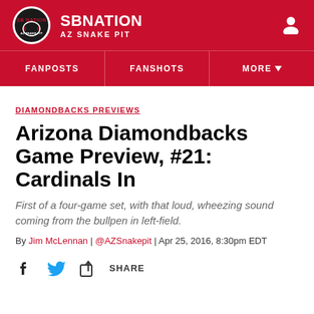SBNATION | AZ SNAKE PIT
FANPOSTS | FANSHOTS | MORE
DIAMONDBACKS PREVIEWS
Arizona Diamondbacks Game Preview, #21: Cardinals In
First of a four-game set, with that loud, wheezing sound coming from the bullpen in left-field.
By Jim McLennan | @AZSnakepit | Apr 25, 2016, 8:30pm EDT
SHARE